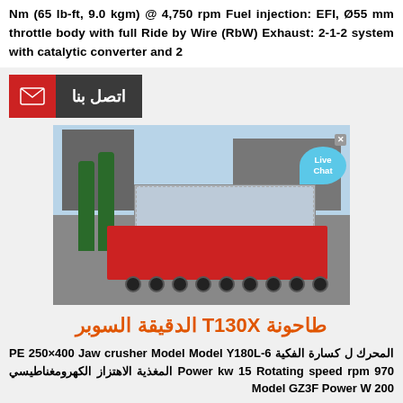Nm (65 lb-ft, 9.0 kgm) @ 4,750 rpm Fuel injection: EFI, Ø55 mm throttle body with full Ride by Wire (RbW) Exhaust: 2-1-2 system with catalytic converter and 2
[Figure (other): Red and dark gray contact button with envelope icon and Arabic text 'اتصل بنا' (Contact Us)]
[Figure (photo): Large industrial machine (crusher/mill equipment) wrapped in plastic film loaded on a red multi-axle heavy transport trailer, parked on a road with trees and buildings in background. Live Chat bubble in top right corner.]
طاحونة T130X الدقيقة السوبر
المحرك ل كسارة الفكية PE 250×400 Jaw crusher Model Model Y180L-6 Power kw 15 Rotating speed rpm 970 المغذية الاهتزاز الكهرومغناطيسي Model GZ3F Power W 200